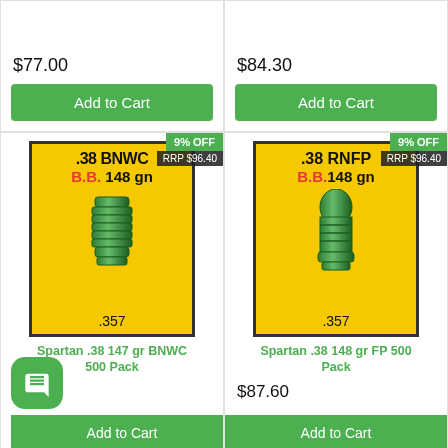$77.00
Add to Cart
$84.30
Add to Cart
[Figure (photo): Product image for Spartan .38 147 gr BNWC 500 Pack showing a green bullet on yellow background labeled .38 BNWC B.B. 148 gn .357 with 9% OFF badge and RRP $96.40]
Spartan .38 147 gr BNWC 500 Pack
$87.60
Add to Cart
[Figure (photo): Product image for Spartan .38 148 gr FP 500 Pack showing a green bullet on yellow background labeled .38 RNFP B.B.148 gn .357 with 9% OFF badge and RRP $96.40]
Spartan .38 148 gr FP 500 Pack
$87.60
Add to Cart